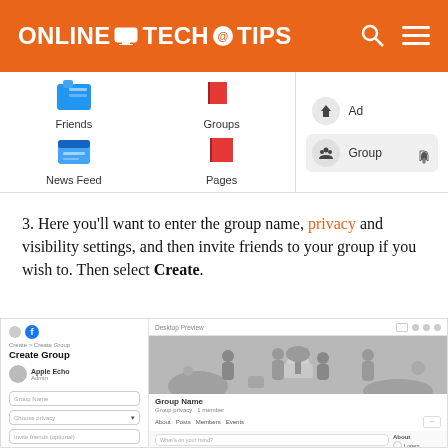ONLINE TECH TIPS
[Figure (screenshot): Facebook UI showing Friends, Groups, News Feed, Pages icons on left panel and Ad, Group menu items on right panel]
3. Here you'll want to enter the group name, privacy and visibility settings, and then invite friends to your group if you wish to. Then select Create.
[Figure (screenshot): Facebook Create Group interface showing sidebar with form fields and desktop preview panel with group cover image, Group Name, and post area]